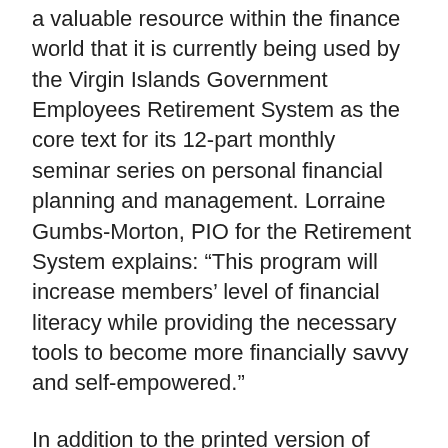a valuable resource within the finance world that it is currently being used by the Virgin Islands Government Employees Retirement System as the core text for its 12-part monthly seminar series on personal financial planning and management. Lorraine Gumbs-Morton, PIO for the Retirement System explains: “This program will increase members’ level of financial literacy while providing the necessary tools to become more financially savvy and self-empowered.”
In addition to the printed version of “The Personal Finance Kit,” Gaskins has also announced the launch of www.toussaintgaskins.com, an online companion to the book featuring real time financial tips and the much-anticipated Wealth’s Wisdom, which Gaskins describes as “a series of